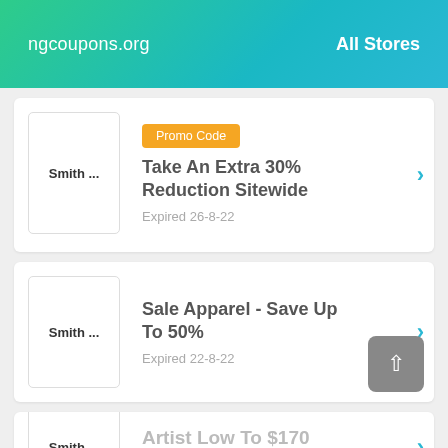ngcoupons.org   All Stores
Promo Code | Take An Extra 30% Reduction Sitewide | Expired 26-8-22
Sale Apparel - Save Up To 50% | Expired 22-8-22
Artist Low To $170